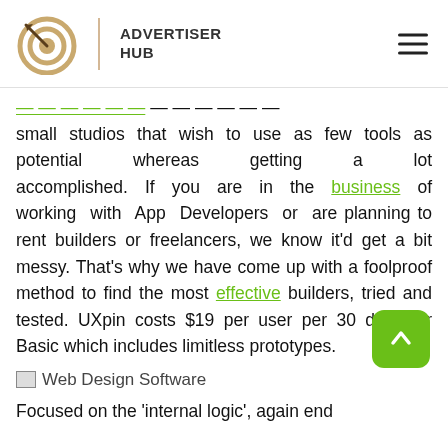ADVERTISER HUB
small studios that wish to use as few tools as potential whereas getting a lot accomplished. If you are in the business of working with App Developers or are planning to rent builders or freelancers, we know it'd get a bit messy. That's why we have come up with a foolproof method to find the most effective builders, tried and tested. UXpin costs $19 per user per 30 days for Basic which includes limitless prototypes.
[Figure (other): Broken image placeholder labeled 'Web Design Software']
Focused on the 'internal logic', again end